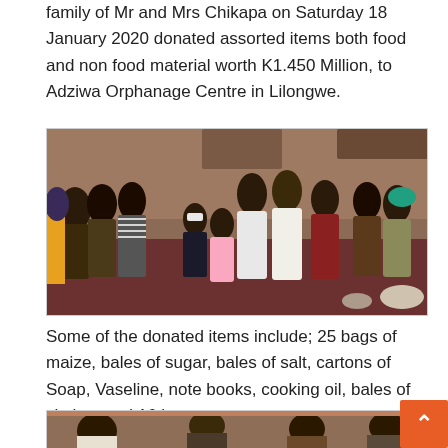family of Mr and Mrs Chikapa on Saturday 18 January 2020 donated assorted items both food and non food material worth K1.450 Million, to Adziwa Orphanage Centre in Lilongwe.
[Figure (photo): Group photo of people at the Adziwa Orphanage Centre donation event, showing adults and children gathered together indoors.]
Some of the donated items include; 25 bags of maize, bales of sugar, bales of salt, cartons of Soap, Vaseline, note books, cooking oil, bales of clothes and 16 heres.
[Figure (photo): Second photo from the donation event showing people interacting, partially visible at the bottom of the page.]